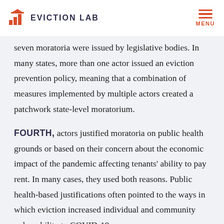EVICTION LAB | MENU
seven moratoria were issued by legislative bodies. In many states, more than one actor issued an eviction prevention policy, meaning that a combination of measures implemented by multiple actors created a patchwork state-level moratorium.
FOURTH, actors justified moratoria on public health grounds or based on their concern about the economic impact of the pandemic affecting tenants' ability to pay rent. In many cases, they used both reasons. Public health-based justifications often pointed to the ways in which eviction increased individual and community vulnerability to COVID-19